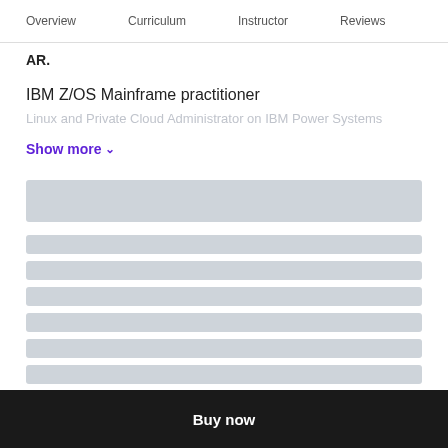Overview  Curriculum  Instructor  Reviews
AR.
IBM Z/OS Mainframe practitioner
Linux and Private Cloud Administrator on IBM Power Systems
Show more ∨
[Figure (other): Loading skeleton placeholder blocks - one large block and multiple smaller row blocks indicating loading content]
Buy now